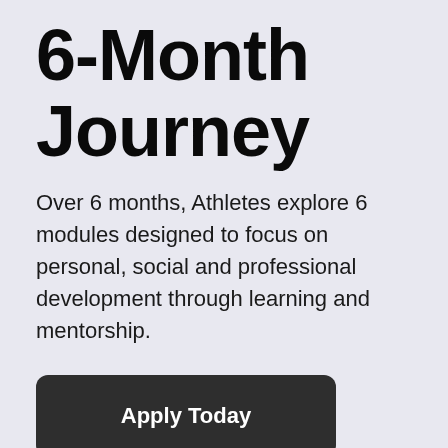6-Month Journey
Over 6 months, Athletes explore 6 modules designed to focus on personal, social and professional development through learning and mentorship.
Apply Today